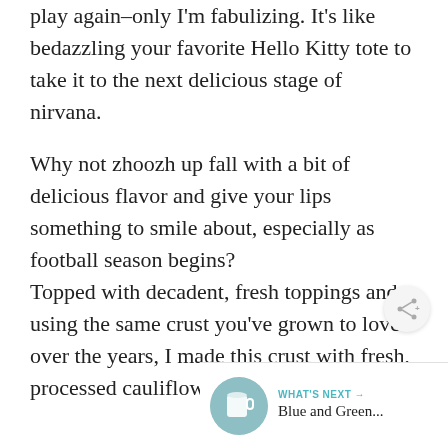play again–only I'm fabulizing. It's like bedazzling your favorite Hello Kitty tote to take it to the next delicious stage of nirvana.
Why not zhoozh up fall with a bit of delicious flavor and give your lips something to smile about, especially as football season begins?
Topped with decadent, fresh toppings and using the same crust you've grown to love over the years, I made this crust with fresh, processed cauliflower.
[Figure (other): Share button icon (circular button with share/network icon)]
[Figure (other): What's Next widget with thumbnail image of a white cup/mug on teal background, label 'WHAT'S NEXT →', and text 'Blue and Green...']